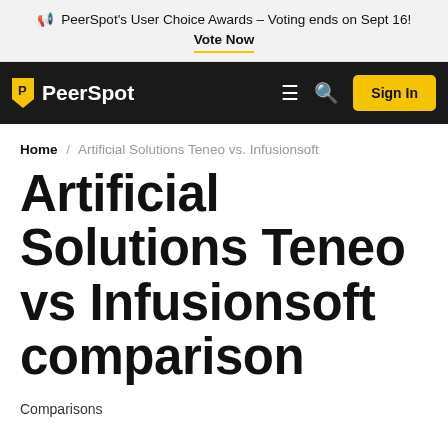PeerSpot's User Choice Awards – Voting ends on Sept 16! Vote Now
[Figure (logo): PeerSpot logo with yellow bookmark flag and white text on dark navbar, with hamburger menu, search icon, and Sign In button]
Home / Artificial Solutions Teneo vs. Infusionsoft
Artificial Solutions Teneo vs Infusionsoft comparison
Comparisons